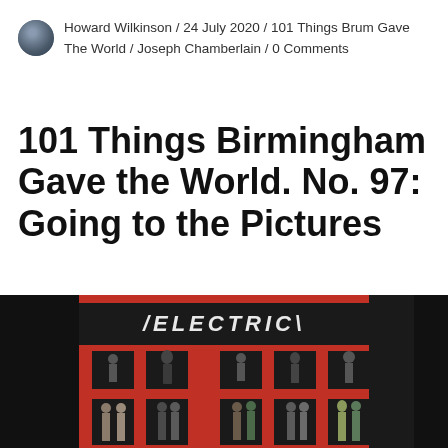Howard Wilkinson / 24 July 2020 / 101 Things Brum Gave The World / Joseph Chamberlain / 0 Comments
101 Things Birmingham Gave the World. No. 97: Going to the Pictures
[Figure (photo): Photograph of the Electric Cinema building facade, painted red with sculptural figures in windows and a sign reading ELECTRIC at the top]